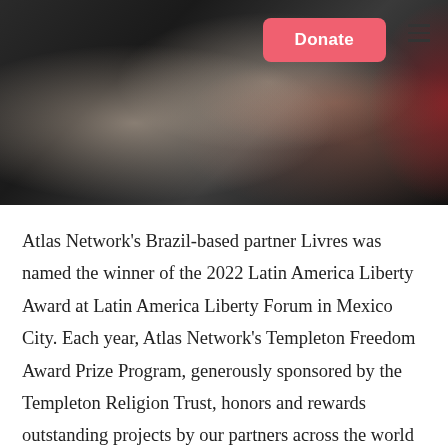[Figure (photo): Two people embracing at an award ceremony, one holding a wooden globe trophy with geometric design, red background lighting, event setting]
Atlas Network's Brazil-based partner Livres was named the winner of the 2022 Latin America Liberty Award at Latin America Liberty Forum in Mexico City. Each year, Atlas Network's Templeton Freedom Award Prize Program, generously sponsored by the Templeton Religion Trust, honors and rewards outstanding projects by our partners across the world through both the